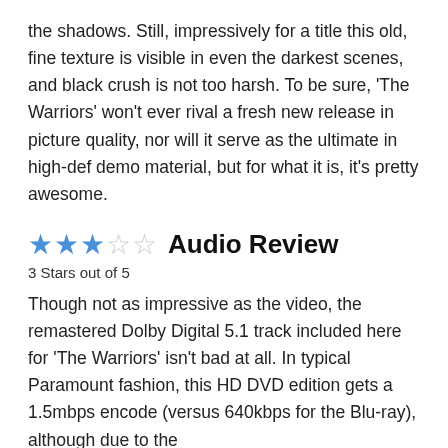the shadows. Still, impressively for a title this old, fine texture is visible in even the darkest scenes, and black crush is not too harsh. To be sure, 'The Warriors' won't ever rival a fresh new release in picture quality, nor will it serve as the ultimate in high-def demo material, but for what it is, it's pretty awesome.
★★★☆☆ Audio Review
3 Stars out of 5
Though not as impressive as the video, the remastered Dolby Digital 5.1 track included here for 'The Warriors' isn't bad at all. In typical Paramount fashion, this HD DVD edition gets a 1.5mbps encode (versus 640kbps for the Blu-ray), although due to the